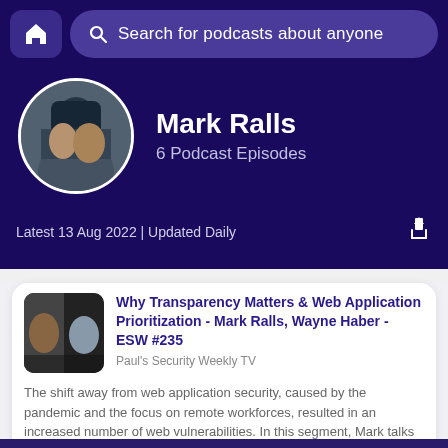Search for podcasts about anyone
Mark Ralls
6 Podcast Episodes
Latest 13 Aug 2022 | Updated Daily
Why Transparency Matters & Web Application Prioritization - Mark Ralls, Wayne Haber - ESW #235
Paul's Security Weekly TV
The shift away from web application security, caused by the pandemic and the focus on remote workforces, resulted in an increased number of web vulnerabilities. In this segment, Mark talks about the best starting...
00:00
39:00
Why Transparency Matters & Web Application Prioritization - Mark Ralls,